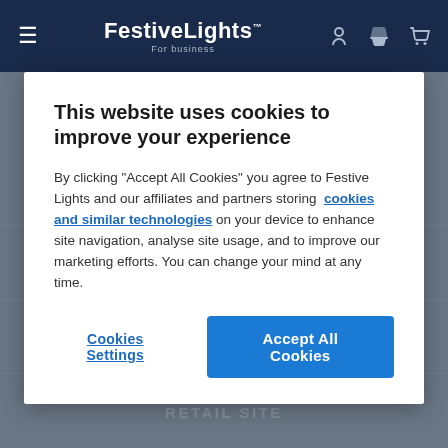FestiveLights For business
This website uses cookies to improve your experience
By clicking "Accept All Cookies" you agree to Festive Lights and our affiliates and partners storing cookies and similar technologies on your device to enhance site navigation, analyse site usage, and to improve our marketing efforts. You can change your mind at any time.
Cookies Settings | Accept All Cookies
ABOUT US
INFORMATION
RETAIL SITE